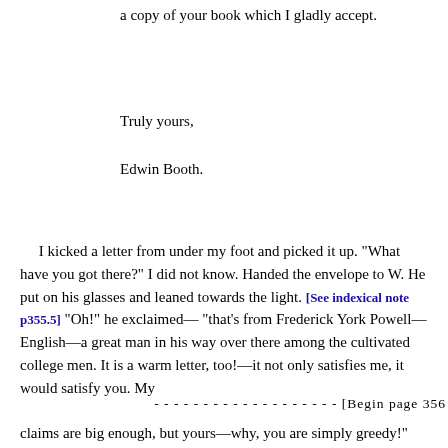a copy of your book which I gladly accept.
Truly yours,
Edwin Booth.
I kicked a letter from under my foot and picked it up. "What have you got there?" I did not know. Handed the envelope to W. He put on his glasses and leaned towards the light. [See indexical note p355.5] "Oh!" he exclaimed— "that's from Frederick York Powell—English—a great man in his way over there among the cultivated college men. It is a warm letter, too!—it not only satisfies me, it would satisfy you. My
- - - - - - - - - - - - - - - - - - - [Begin page 356
claims are big enough, but yours—why, you are simply greedy!" Laughed. "Powell is one of the men, the tribe of the